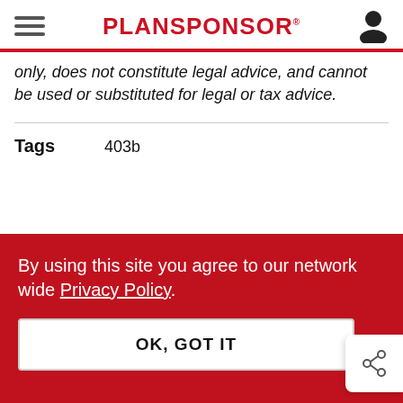PLANSPONSOR
only, does not constitute legal advice, and cannot be used or substituted for legal or tax advice.
Tags   403b
By using this site you agree to our network wide Privacy Policy.
OK, GOT IT